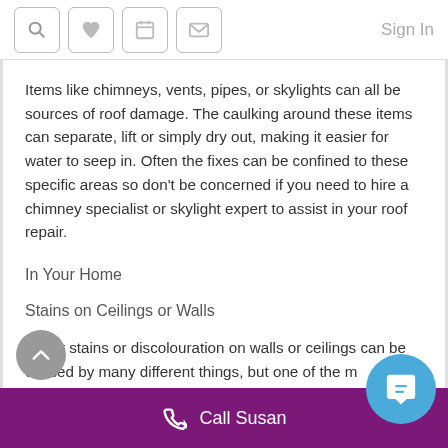Sign In [nav icons: search, heart, calendar, envelope]
Items like chimneys, vents, pipes, or skylights can all be sources of roof damage. The caulking around these items can separate, lift or simply dry out, making it easier for water to seep in. Often the fixes can be confined to these specific areas so don't be concerned if you need to hire a chimney specialist or skylight expert to assist in your roof repair.
In Your Home
Stains on Ceilings or Walls
Water stains or discolouration on walls or ceilings can be caused by many different things, but one of the m…
Call Susan